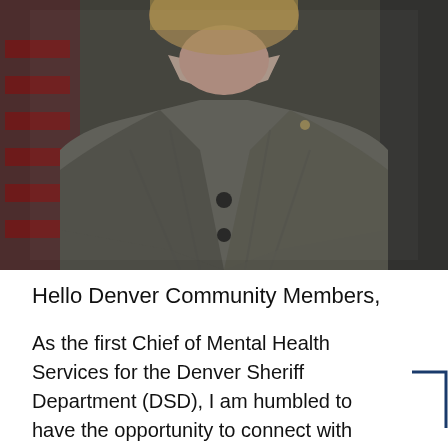[Figure (photo): A woman in a grey plaid blazer with a small pin, standing in front of an American flag. The photo is cropped to show her from the shoulders/chest area upward, with blonde hair visible at the top.]
Hello Denver Community Members,
As the first Chief of Mental Health Services for the Denver Sheriff Department (DSD), I am humbled to have the opportunity to connect with each and every one of you through our community newsletter (and hopefully many of you in person, as...